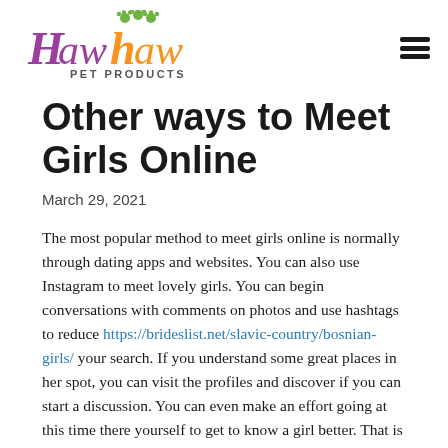[Figure (logo): HawHaw Pet Products logo with colorful paw prints and stylized text in purple and orange]
Other ways to Meet Girls Online
March 29, 2021
The most popular method to meet girls online is normally through dating apps and websites. You can also use Instagram to meet lovely girls. You can begin conversations with comments on photos and use hashtags to reduce https://brideslist.net/slavic-country/bosnian-girls/ your search. If you understand some great places in her spot, you can visit the profiles and discover if you can start a discussion. You can even make an effort going at this time there yourself to get to know a girl better. That is an easy way